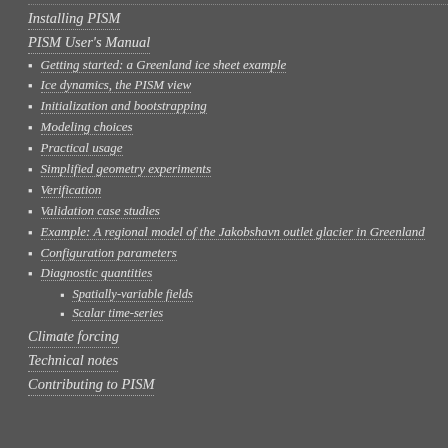Installing PISM
PISM User's Manual
Getting started: a Greenland ice sheet example
Ice dynamics, the PISM view
Initialization and bootstrapping
Modeling choices
Practical usage
Simplified geometry experiments
Verification
Validation case studies
Example: A regional model of the Jakobshavn outlet glacier in Greenland
Configuration parameters
Diagnostic quantities
Spatially-variable fields
Scalar time-series
Climate forcing
Technical notes
Contributing to PISM